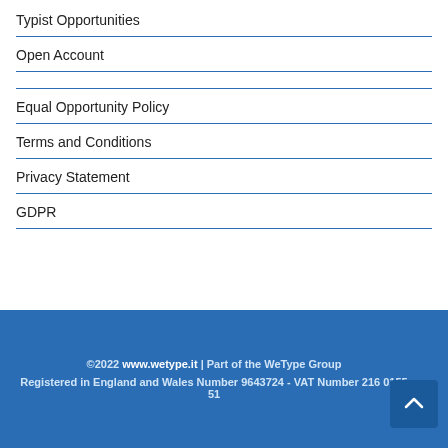Typist Opportunities
Open Account
Equal Opportunity Policy
Terms and Conditions
Privacy Statement
GDPR
©2022 www.wetype.it | Part of the WeType Group Registered in England and Wales Number 9643724 - VAT Number 216 0155 51